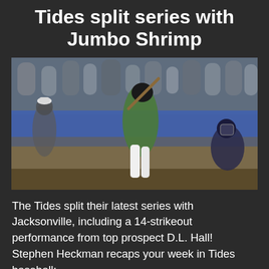Tides split series with Jumbo Shrimp
[Figure (photo): Baseball player in green camouflage uniform swinging a bat at a night game, with a catcher in dark uniform crouching behind, and a crowd of spectators visible in the background behind a blue outfield wall.]
The Tides split their latest series with Jacksonville, including a 14-strikeout performance from top prospect D.L. Hall! Stephen Heckman recaps your week in Tides baseball: